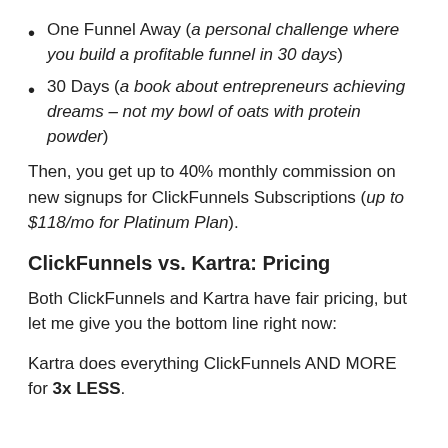One Funnel Away (a personal challenge where you build a profitable funnel in 30 days)
30 Days (a book about entrepreneurs achieving dreams – not my bowl of oats with protein powder)
Then, you get up to 40% monthly commission on new signups for ClickFunnels Subscriptions (up to $118/mo for Platinum Plan).
ClickFunnels vs. Kartra: Pricing
Both ClickFunnels and Kartra have fair pricing, but let me give you the bottom line right now:
Kartra does everything ClickFunnels AND MORE for 3x LESS.